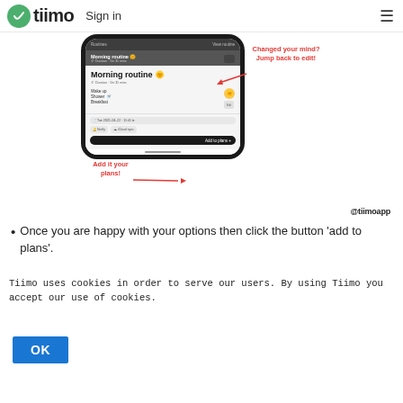tiimo  Sign in
[Figure (screenshot): Screenshot of Tiimo app showing a phone displaying 'Morning routine' with emoji sun, listing Wake up, Shower, Breakfast items, date/time field, tag buttons, and an 'Add to plans' button. Red callout annotations: 'Changed your mind? Jump back to edit!' pointing to top of phone, and 'Add it your plans!' pointing to the Add to plans button.]
@tiimoapp
Once you are happy with your options then click the button 'add to plans'.
Tiimo uses cookies in order to serve our users. By using Tiimo you accept our use of cookies.
OK